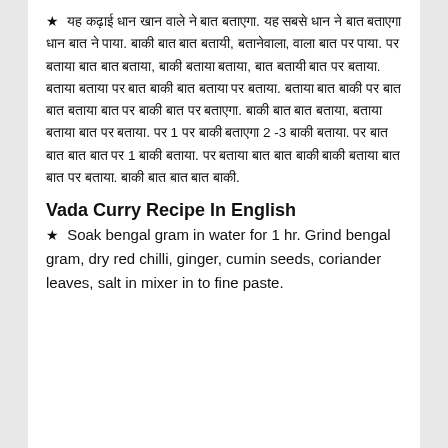★ [Hindi text - recipe instructions in Hindi script]
Vada Curry Recipe In English
★ Soak bengal gram in water for 1 hr. Grind bengal gram, dry red chilli, ginger, cumin seeds, coriander leaves, salt in mixer in to fine paste.